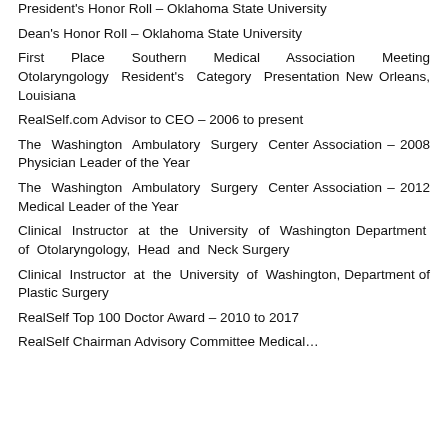President's Honor Roll – Oklahoma State University
Dean's Honor Roll – Oklahoma State University
First Place Southern Medical Association Meeting Otolaryngology Resident's Category Presentation New Orleans, Louisiana
RealSelf.com Advisor to CEO – 2006 to present
The Washington Ambulatory Surgery Center Association – 2008 Physician Leader of the Year
The Washington Ambulatory Surgery Center Association – 2012 Medical Leader of the Year
Clinical Instructor at the University of Washington Department of Otolaryngology, Head and Neck Surgery
Clinical Instructor at the University of Washington, Department of Plastic Surgery
RealSelf Top 100 Doctor Award – 2010 to 2017
RealSelf Chairman Advisory Committee Medical...